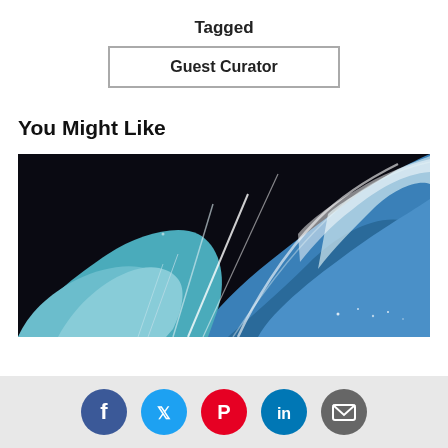Tagged
Guest Curator
You Might Like
[Figure (illustration): Close-up painting of blue and white tropical flower petals on a black background, with fluid brushstrokes creating a dramatic floral abstract image.]
Social share icons: Facebook, Twitter, Pinterest, LinkedIn, Email